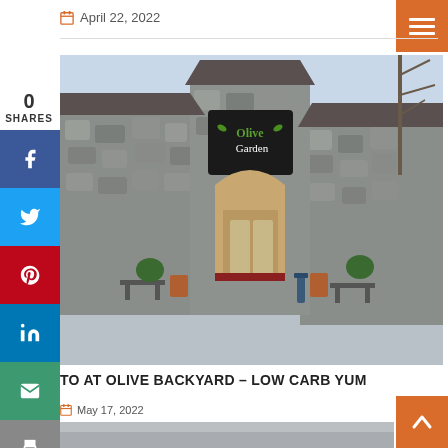April 22, 2022
[Figure (photo): Exterior of an Olive Garden restaurant building with stone facade and Olive Garden sign above the entrance, benches and planters in front, bare trees in background]
TO AT OLIVE BACKYARD – LOW CARB YUM
May 17, 2022